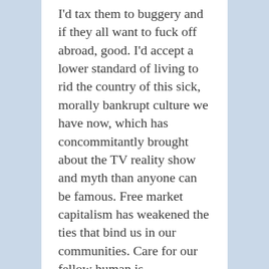I'd tax them to buggery and if they all want to fuck off abroad, good. I'd accept a lower standard of living to rid the country of this sick, morally bankrupt culture we have now, which has concommitantly brought about the TV reality show and myth than anyone can be famous. Free market capitalism has weakened the ties that bind us in our communities. Care for our fellow human is